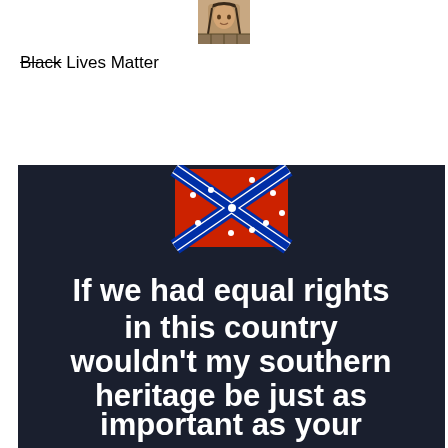[Figure (photo): Small square profile photo of a person with long hair, appears to be a Native American portrait illustration]
Black Lives Matter
[Figure (photo): Dark background meme image with Confederate battle flag at top and bold white text reading: 'If we had equal rights in this country wouldn't my southern heritage be just as important as your black history?']